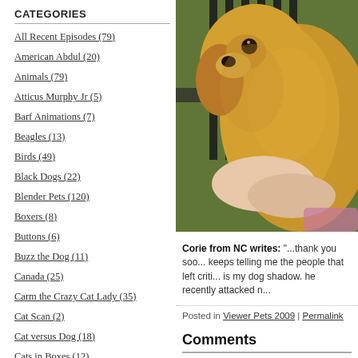CATEGORIES
All Recent Episodes (79)
American Abdul (20)
Animals (79)
Atticus Murphy Jr (5)
Barf Animations (7)
Beagles (13)
Birds (49)
Black Dogs (22)
Blender Pets (120)
Boxers (8)
Buttons (6)
Buzz the Dog (11)
Canada (25)
Carm the Crazy Cat Lady (35)
Cat Scan (2)
Cat versus Dog (18)
Cats in Boxes (12)
[Figure (photo): Close-up photo of a golden/yellow dog resting its chin on a person's hand, with green foliage in the background]
Corie from NC writes: "...thank you soo... keeps telling me the people that left criti... is my dog shadow. he recently attacked n..."
Posted in Viewer Pets 2009 | Permalink
Comments